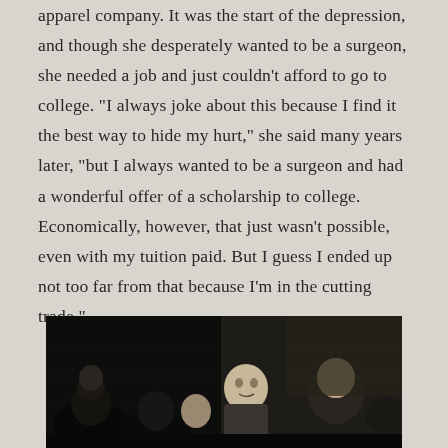apparel company. It was the start of the depression, and though she desperately wanted to be a surgeon, she needed a job and just couldn't afford to go to college. "I always joke about this because I find it the best way to hide my hurt," she said many years later, "but I always wanted to be a surgeon and had a wonderful offer of a scholarship to college. Economically, however, that just wasn't possible, even with my tuition paid. But I guess I ended up not too far from that because I'm in the cutting trade."
[Figure (photo): Black and white photograph showing a group of people gathered together, faces visible, appears to be a social occasion]